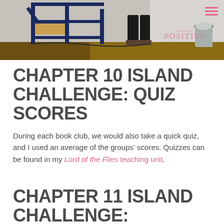[Figure (photo): Classroom photo showing a student near a blue metal shelving unit/desk frame on a wooden floor, with a white/gray wall in the background and a trash can visible on the right side. A hamburger menu icon and watermark logo are overlaid in the top right corner.]
CHAPTER 10 ISLAND CHALLENGE: QUIZ SCORES
During each book club, we would also take a quick quiz, and I used an average of the groups' scores. Quizzes can be found in my Lord of the Flies teaching unit.
CHAPTER 11 ISLAND CHALLENGE: THEME/QUOTE